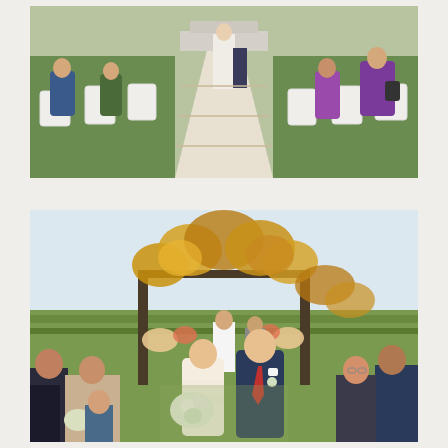[Figure (photo): Outdoor wedding ceremony aisle view from behind guests. Bride in white gown walking aisle, white folding chairs on both sides, guests seated including woman in blue and people in purple dresses on the right. Green lawn visible.]
[Figure (photo): Newly married couple walking back down the aisle together after ceremony at a vineyard. Bride in lace wedding dress holding white floral bouquet, groom in navy suit with red tie. Autumn floral arch with golden leaves visible in background, wedding party and guests applauding on both sides.]